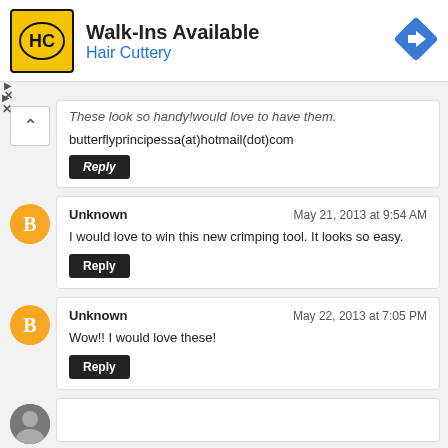[Figure (infographic): Hair Cuttery advertisement banner with logo, 'Walk-Ins Available' text, and a blue diamond navigation icon]
These look so handy!would love to have them.
butterflyprincipessa(at)hotmail(dot)com
Reply
Unknown
May 21, 2013 at 9:54 AM
I would love to win this new crimping tool. It looks so easy.
Reply
Unknown
May 22, 2013 at 7:05 PM
Wow!! I would love these!
Reply